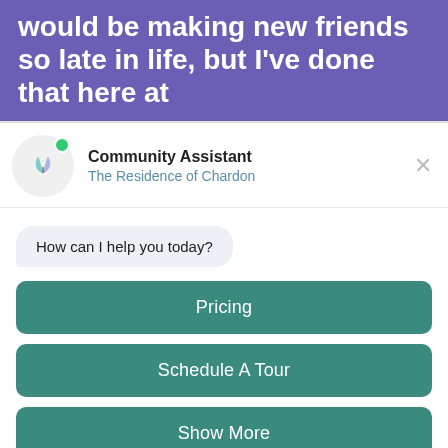would be making new friends so late in life, but I've done that here at
[Figure (screenshot): Chat widget UI showing Community Assistant for The Residence of Chardon with avatar logo, green online dot, close button, a chat bubble saying 'How can I help you today?', three teal buttons (Pricing, Schedule A Tour, Show More), and a text input field 'Ask A Question' with a send icon and accessibility button.]